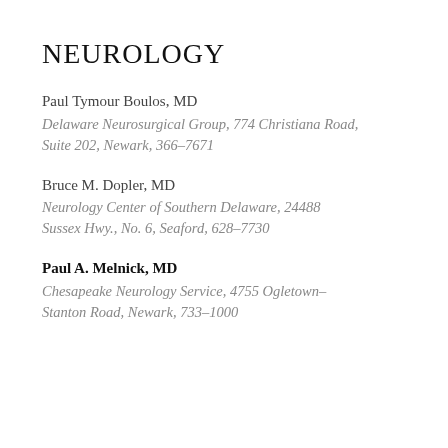NEUROLOGY
Paul Tymour Boulos, MD
Delaware Neurosurgical Group, 774 Christiana Road, Suite 202, Newark, 366-7671
Bruce M. Dopler, MD
Neurology Center of Southern Delaware, 24488 Sussex Hwy., No. 6, Seaford, 628-7730
Paul A. Melnick, MD
Chesapeake Neurology Service, 4755 Ogletown-Stanton Road, Newark, 733-1000